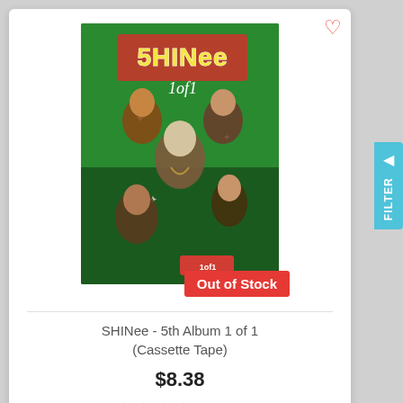[Figure (photo): SHINee 5th Album '1 of 1' cassette tape product photo showing group members on green background with red/yellow SHINee logo text. Badge overlay reads 'Out of Stock'.]
SHINee - 5th Album 1 of 1 (Cassette Tape)
$8.38
★★★★★ (2 Reviews)
ADD TO CART